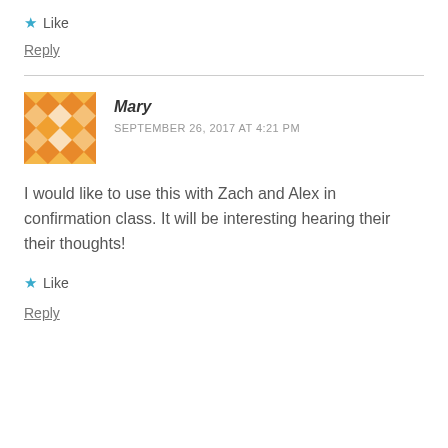★ Like
Reply
Mary
SEPTEMBER 26, 2017 AT 4:21 PM
I would like to use this with Zach and Alex in confirmation class. It will be interesting hearing their their thoughts!
★ Like
Reply